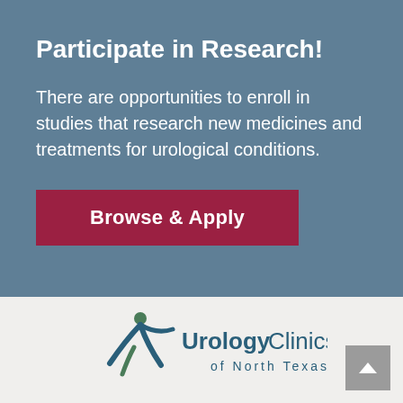Participate in Research!
There are opportunities to enroll in studies that research new medicines and treatments for urological conditions.
Browse & Apply
[Figure (logo): Urology Clinics of North Texas logo with stylized figure graphic in teal and dark teal colors, text reads UrologyClinics of North Texas]